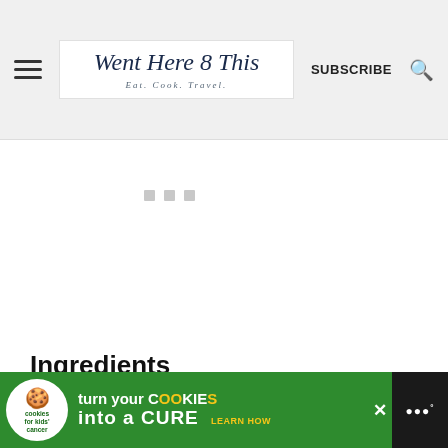Went Here 8 This — Eat. Cook. Travel. | SUBSCRIBE | Search
[Figure (other): Loading advertisement placeholder area with three gray squares]
Ingredients
1 cup creamy peanut butter
[Figure (other): Cookies for Kids Cancer advertisement: turn your COOKIES into a CURE LEARN HOW]